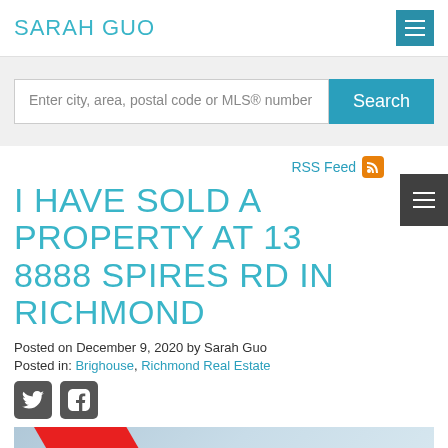SARAH GUO
Enter city, area, postal code or MLS® number
I HAVE SOLD A PROPERTY AT 13 8888 SPIRES RD IN RICHMOND
Posted on December 9, 2020 by Sarah Guo
Posted in: Brighouse, Richmond Real Estate
[Figure (photo): Property photo showing a house with a red diagonal stripe/sold banner, light blue/grey sky background]